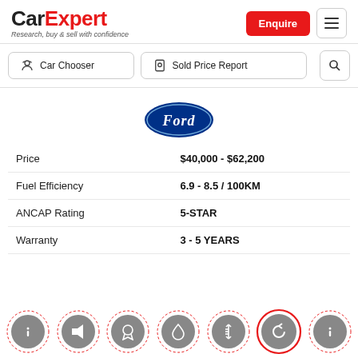[Figure (logo): CarExpert logo with tagline 'Research, buy & sell with confidence']
Car Chooser
Sold Price Report
[Figure (logo): Ford oval logo in blue and white]
|  |  |
| --- | --- |
| Price | $40,000 - $62,200 |
| Fuel Efficiency | 6.9 - 8.5 / 100KM |
| ANCAP Rating | 5-STAR |
| Warranty | 3 - 5 YEARS |
[Figure (infographic): Row of circular icon buttons at bottom: info, speaker/volume, warranty/medal, droplet/fuel, height gauge, curved arrow (active/red ring), info]